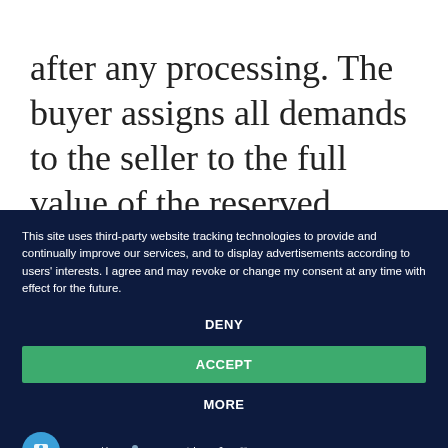after any processing. The buyer assigns all demands to the seller to the full value of the reserved goods, and in addition - unless the rights of a third party prevent
This site uses third-party website tracking technologies to provide and continually improve our services, and to display advertisements according to users' interests. I agree and may revoke or change my consent at any time with effect for the future.
DENY
ACCEPT
MORE
Powered by usercentrics & eRecht24